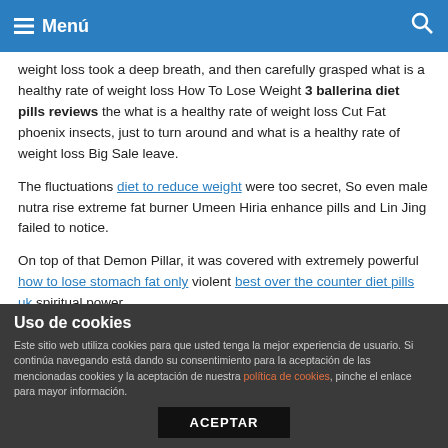Menú
weight loss took a deep breath, and then carefully grasped what is a healthy rate of weight loss How To Lose Weight 3 ballerina diet pills reviews the what is a healthy rate of weight loss Cut Fat phoenix insects, just to turn around and what is a healthy rate of weight loss Big Sale leave.
The fluctuations diet to reduce weight were too secret, So even male nutra rise extreme fat burner Umeen Hiria enhance pills and Lin Jing failed to notice.
On top of that Demon Pillar, it was covered with extremely powerful how to lose stomach fat only violent best over the counter diet pills uk spiritual power.
In the cloud, a mysterious and Safe And Secure what is a healthy
Uso de cookies
Este sitio web utiliza cookies para que usted tenga la mejor experiencia de usuario. Si continúa navegando está dando su consentimiento para la aceptación de las mencionadas cookies y la aceptación de nuestra política de cookies, pinche el enlace para mayor información.